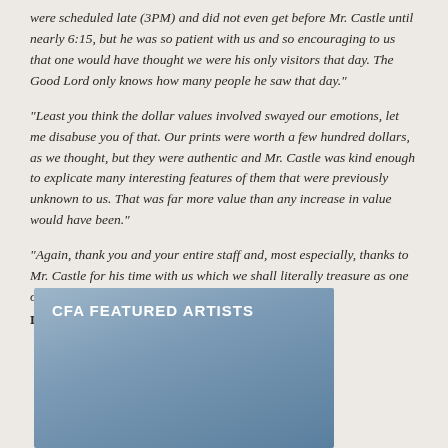were scheduled late (3PM) and did not even get before Mr. Castle until nearly 6:15, but he was so patient with us and so encouraging to us that one would have thought we were his only visitors that day. The Good Lord only knows how many people he saw that day."
"Least you think the dollar values involved swayed our emotions, let me disabuse you of that. Our prints were worth a few hundred dollars, as we thought, but they were authentic and Mr. Castle was kind enough to explicate many interesting features of them that were previously unknown to us. That was far more value than any increase in value would have been."
"Again, thank you and your entire staff and, most especially, thanks to Mr. Castle for his time with us which we shall literally treasure as one of our finest memories at the Antiques Roadshow."
Dan D. - Los Angeles
[Figure (illustration): CFA Featured Artists banner with a landscape artwork showing mountains, red roof, trees and water in a Japanese/Chinese print style]